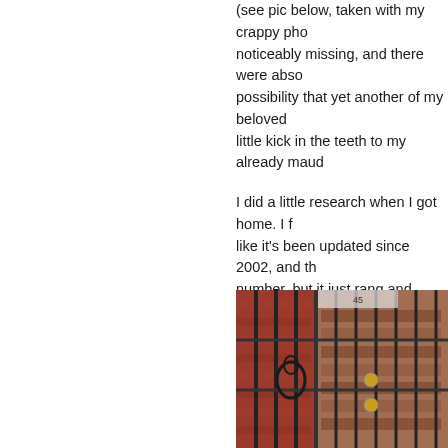(see pic below, taken with my crappy pho... noticeably missing, and there were abso... possibility that yet another of my beloved... little kick in the teeth to my already maud...
I did a little research when I got home. I f... like it's been updated since 2002, and th... number, but it just rang and rang. I fear t...
In any case, perhaps another one has bi... Subterranean Records.
*ADDENDUM*
[Figure (photo): A photograph of a storefront with metal security bars/gate visible, behind which shelves of what appear to be records are visible. Red brick wall visible to the left.]